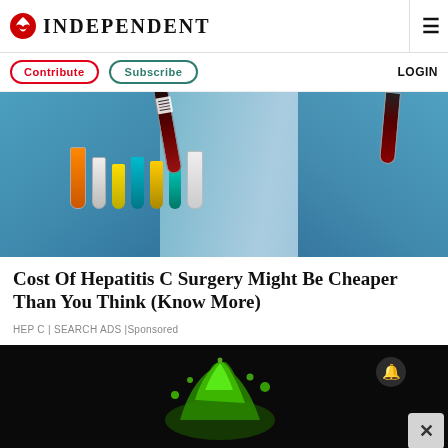INDEPENDENT
Contribute | Subscribe | LOGIN
[Figure (photo): Laboratory technician in blue gloves holding a blood sample vial with other test tubes in the background]
Cost Of Hepatitis C Surgery Might Be Cheaper Than You Think (Know More)
HEP C | SEARCH ADS | Sponsored
[Figure (photo): Dark background with green liquid splash and notification bell icon with close button]